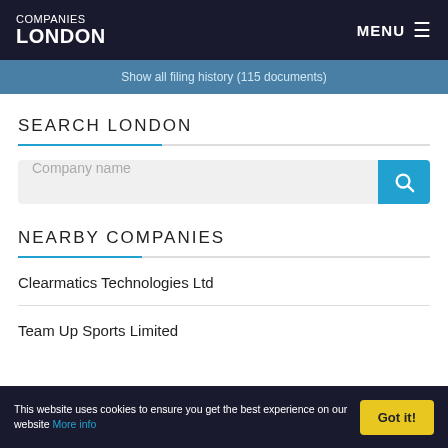COMPANIES LONDON | MENU
Show all filing history (115 documents)
SEARCH LONDON
Company name
NEARBY COMPANIES
Clearmatics Technologies Ltd
Team Up Sports Limited
This website uses cookies to ensure you get the best experience on our website More info | Got it!